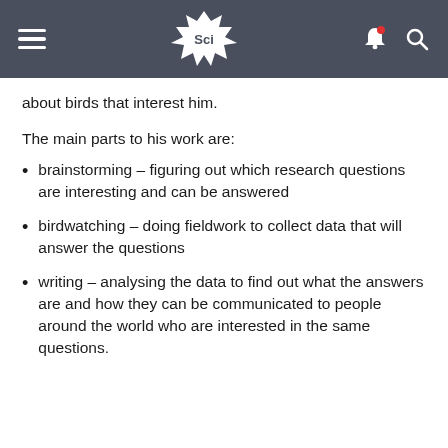Sci
about birds that interest him.
The main parts to his work are:
brainstorming – figuring out which research questions are interesting and can be answered
birdwatching – doing fieldwork to collect data that will answer the questions
writing – analysing the data to find out what the answers are and how they can be communicated to people around the world who are interested in the same questions.